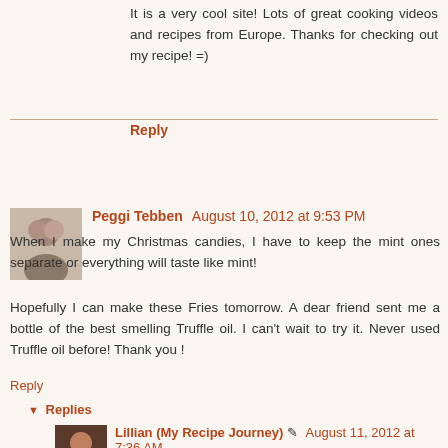It is a very cool site! Lots of great cooking videos and recipes from Europe. Thanks for checking out my recipe! =)
Reply
Peggi Tebben  August 10, 2012 at 9:53 PM
When I make my Christmas candies, I have to keep the mint ones separate or everything will taste like mint!
Hopefully I can make these Fries tomorrow. A dear friend sent me a bottle of the best smelling Truffle oil. I can't wait to try it. Never used Truffle oil before! Thank you !
Reply
▼ Replies
Lillian (My Recipe Journey) ✎ August 11, 2012 at 7:36 AM
WOW! What a nice friend :)